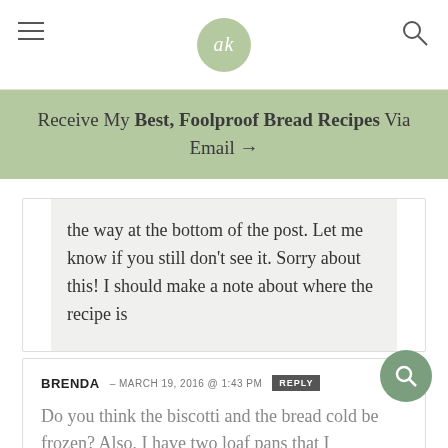ak
Receive My Best, Foolproof Bread Recipes Via Email →
the way at the bottom of the post. Let me know if you still don't see it. Sorry about this! I should make a note about where the recipe is
BRENDA – MARCH 19, 2016 @ 1:43 PM REPLY
Do you think the biscotti and the bread cold be frozen? Also, I have two loaf pans that I